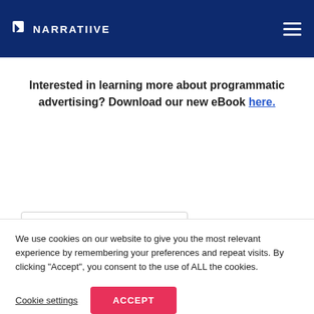NARRATIIVE
Interested in learning more about programmatic advertising? Download our new eBook here.
Industry Insights
We use cookies on our website to give you the most relevant experience by remembering your preferences and repeat visits. By clicking "Accept", you consent to the use of ALL the cookies.
Cookie settings  ACCEPT